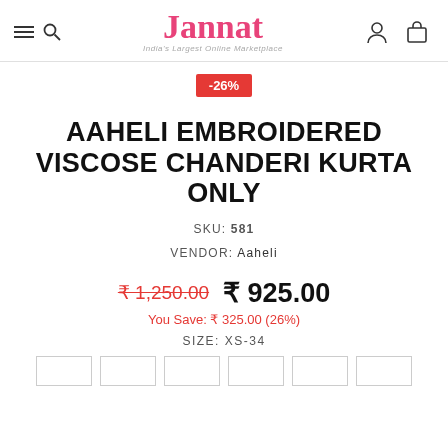Jannat — India's Largest Online Marketplace
-26%
AAHELI EMBROIDERED VISCOSE CHANDERI KURTA ONLY
SKU: 581
VENDOR: Aaheli
₹ 1,250.00  ₹ 925.00
You Save: ₹ 325.00 (26%)
SIZE: XS-34